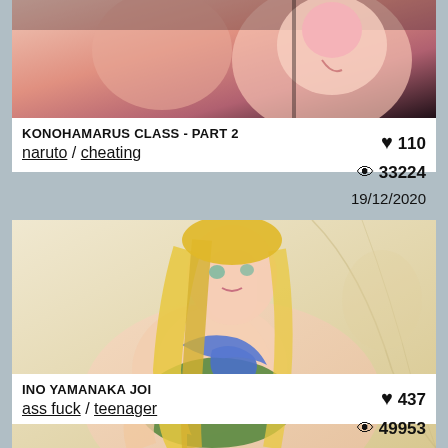[Figure (illustration): Anime-style illustration thumbnail showing two characters, partial view cropped at top]
KONOHAMARUS CLASS - PART 2
naruto / cheating
♥ 110  👁 33224  19/12/2020
[Figure (illustration): Anime-style illustration of blonde female character in blue top and green outfit]
INO YAMANAKA JOI
ass fuck / teenager
♥ 437  👁 49953